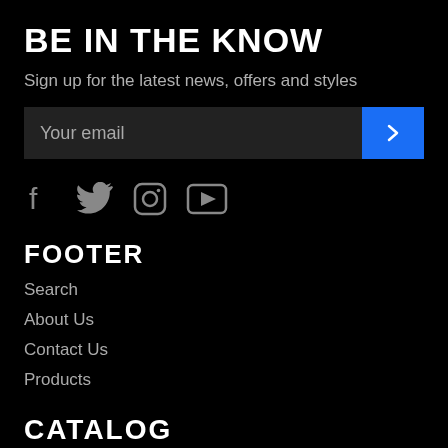BE IN THE KNOW
Sign up for the latest news, offers and styles
[Figure (other): Email input field with blue submit button containing a right arrow chevron]
[Figure (other): Social media icons: Facebook, Twitter, Instagram, YouTube]
FOOTER
Search
About Us
Contact Us
Products
CATALOG
Apparel